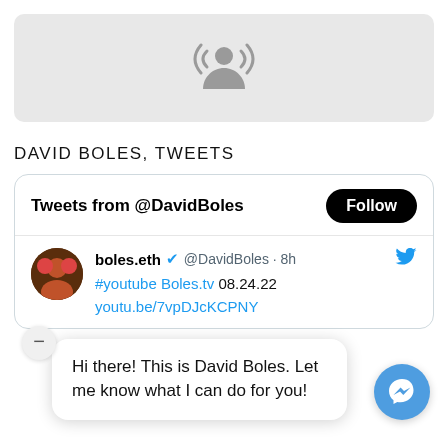[Figure (illustration): Podcast icon (person with radio waves) on a light grey rounded rectangle banner]
DAVID BOLES, TWEETS
[Figure (screenshot): Twitter widget showing tweets from @DavidBoles with a Follow button, and a tweet by boles.eth (@DavidBoles, 8h ago) linking to #youtube Boles.tv 08.24.22 youtu.be/7vpDJcKCPNY]
Hi there! This is David Boles. Let me know what I can do for you!